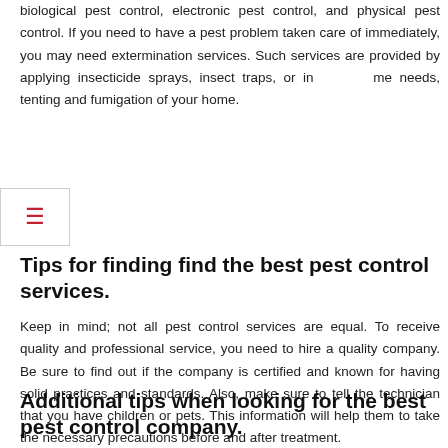biological pest control, electronic pest control, and physical pest control. If you need to have a pest problem taken care of immediately, you may need extermination services. Such services are provided by applying insecticide sprays, insect traps, or in some needs, tenting and fumigation of your home.
Tips for finding find the best pest control services.
Keep in mind; not all pest control services are equal. To receive quality and professional service, you need to hire a quality company. Be sure to find out if the company is certified and known for having solid practices and standards. Also, make sure to tell the technician that you have children or pets. This information will help them to take the necessary precautions before and after treatment.
Additional tips when looking for the best pest control company.